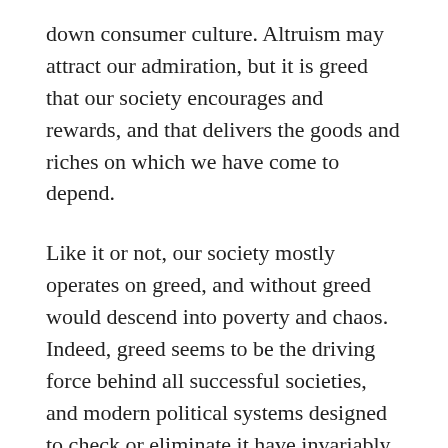down consumer culture. Altruism may attract our admiration, but it is greed that our society encourages and rewards, and that delivers the goods and riches on which we have come to depend.
Like it or not, our society mostly operates on greed, and without greed would descend into poverty and chaos. Indeed, greed seems to be the driving force behind all successful societies, and modern political systems designed to check or eliminate it have invariably ended in the most abject failure.